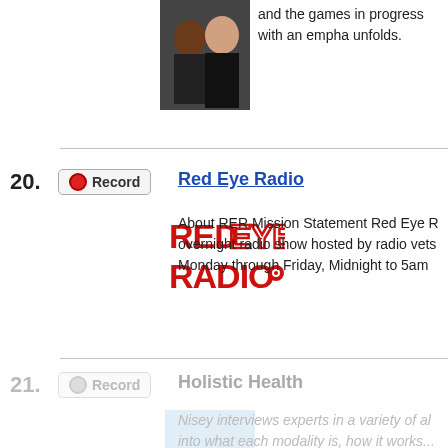[Figure (photo): Two men in black shirts, partial photo of previous list entry]
and the games in progress with an empha unfolds.
20. Red Eye Radio - About RER Mission Statement Red Eye R overnight radio show hosted by radio vets Monday through Friday, Midnight to 5am
[Figure (logo): Red Eye Radio logo - bold red text reading RED EYE RADIO]
21. Holistic Health - Nisey interviews experts in a variety of al into what each modality is, how it works...